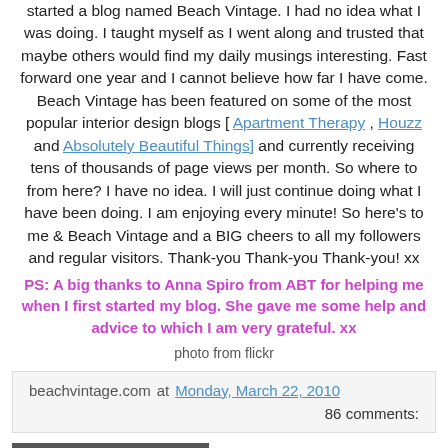started a blog named Beach Vintage. I had no idea what I was doing. I taught myself as I went along and trusted that maybe others would find my daily musings interesting. Fast forward one year and I cannot believe how far I have come. Beach Vintage has been featured on some of the most popular interior design blogs [ Apartment Therapy , Houzz and Absolutely Beautiful Things] and currently receiving tens of thousands of page views per month. So where to from here? I have no idea. I will just continue doing what I have been doing. I am enjoying every minute! So here's to me & Beach Vintage and a BIG cheers to all my followers and regular visitors. Thank-you Thank-you Thank-you! xx
PS: A big thanks to Anna Spiro from ABT for helping me when I first started my blog. She gave me some help and advice to which I am very grateful. xx
photo from flickr
beachvintage.com at Monday, March 22, 2010   86 comments:
Friday, March 19, 2010
Project Day: Tulle Fairy Lights